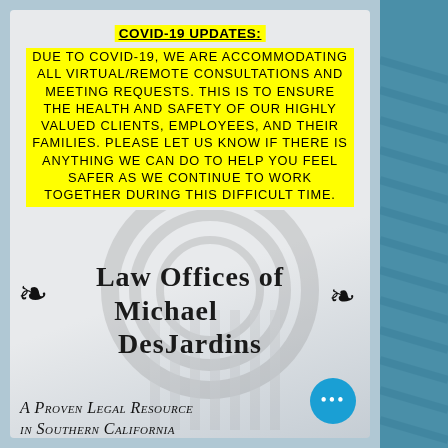COVID-19 UPDATES:
Due to COVID-19, we are accommodating all virtual/remote consultations and meeting requests. This is to ensure the health and safety of our highly valued clients, employees, and their families. Please let us know if there is anything we can do to help you feel safer as we continue to work together during this difficult time.
Law Offices of Michael DesJardins
A Proven Legal Resource in Southern California